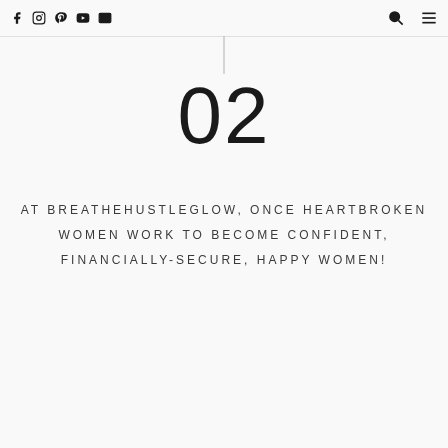Facebook Instagram Pinterest YouTube Mail | Search | Menu
02
AT BREATHEHUSTLEGLOW, ONCE HEARTBROKEN WOMEN WORK TO BECOME CONFIDENT, FINANCIALLY-SECURE, HAPPY WOMEN!